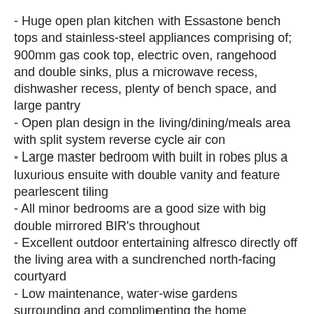- Huge open plan kitchen with Essastone bench tops and stainless-steel appliances comprising of; 900mm gas cook top, electric oven, rangehood and double sinks, plus a microwave recess, dishwasher recess, plenty of bench space, and large pantry
- Open plan design in the living/dining/meals area with split system reverse cycle air con
- Large master bedroom with built in robes plus a luxurious ensuite with double vanity and feature pearlescent tiling
- All minor bedrooms are a good size with big double mirrored BIR's throughout
- Excellent outdoor entertaining alfresco directly off the living area with a sundrenched north-facing courtyard
- Low maintenance, water-wise gardens surrounding and complimenting the home
- Double remote garage with additional parking
- New timber floor boards to the living areas
- High ceilings throughout